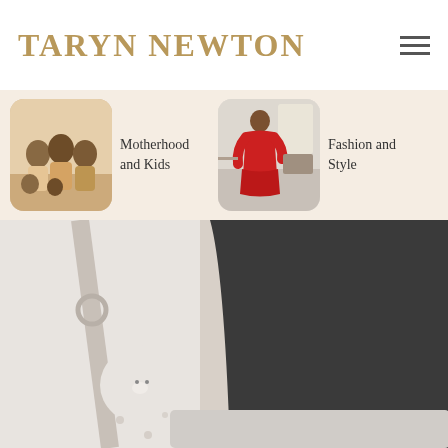TARYN NEWTON
[Figure (screenshot): Navigation hamburger menu icon (three horizontal lines)]
[Figure (photo): Family group photo thumbnail for Motherhood and Kids category]
Motherhood and Kids
[Figure (photo): Woman in red dress thumbnail for Fashion and Style category]
Fashion and Style
[Figure (photo): Close-up photo of person wearing dark camouflage leggings, with white stuffed animal toy visible, in a car seat area]